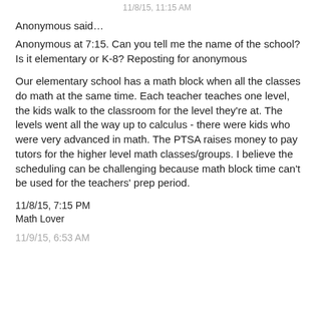11/8/15, 11:15 AM
Anonymous said…
Anonymous at 7:15. Can you tell me the name of the school? Is it elementary or K-8? Reposting for anonymous
Our elementary school has a math block when all the classes do math at the same time. Each teacher teaches one level, the kids walk to the classroom for the level they're at. The levels went all the way up to calculus - there were kids who were very advanced in math. The PTSA raises money to pay tutors for the higher level math classes/groups. I believe the scheduling can be challenging because math block time can't be used for the teachers' prep period.
11/8/15, 7:15 PM
Math Lover
11/9/15, 6:53 AM